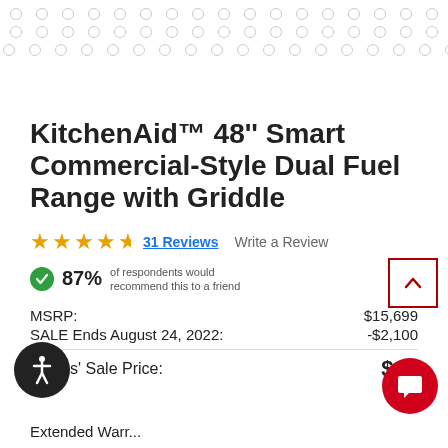[Figure (other): Decorative dot grid pattern of small empty circles arranged in rows]
KitchenAid™ 48'' Smart Commercial-Style Dual Fuel Range with Griddle
★★★★½  31 Reviews   Write a Review
87% of respondents would recommend this to a friend
MSRP: $15,699
SALE Ends August 24, 2022: -$2,100
emans' Sale Price: $13...
Extended Warranty...